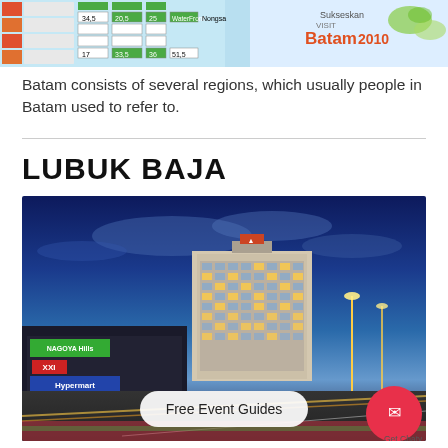[Figure (infographic): Partial infographic showing a map/table of Batam regions with text 'Sukseskan Visit Batam 2010', including a data table with values like 34,5 / 20,5 / 25 / WaterFront and 17 / 33,5 / 36 / 51,5 / Nongsa]
Batam consists of several regions, which usually people in Batam used to refer to.
LUBUK BAJA
[Figure (photo): Nighttime/dusk photo of Lubuk Baja area showing a multi-story hotel building (appears to be a Nagoya Hills hotel), city street with light trails, shopping center signage including 'NAGOYA HILLS', 'XXI', 'Hypermart', dramatic blue sky with clouds, with a 'Free Event Guides' overlay button and 'Get Chaty' chat widget button visible]